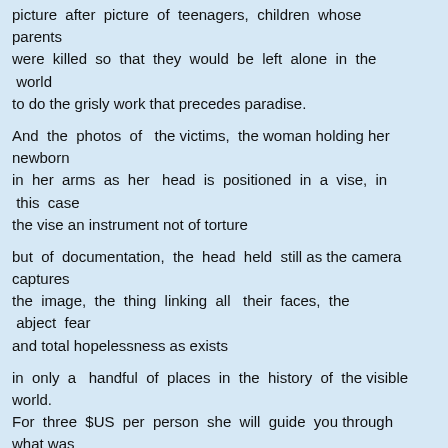picture after picture of teenagers, children whose parents were killed so that they would be left alone in the world to do the grisly work that precedes paradise.
And the photos of the victims, the woman holding her newborn in her arms as her head is positioned in a vise, in this case the vise an instrument not of torture
but of documentation, the head held still as the camera captures the image, the thing linking all their faces, the abject fear and total hopelessness as exists
in only a handful of places in the history of the visible world. For three $US per person she will guide you through what was Tuel Sleng prison, hill of the strychnine tree.